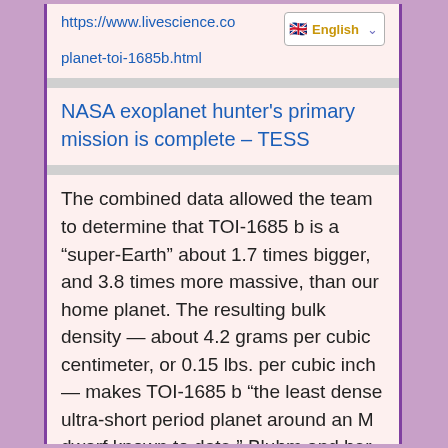https://www.livescience.co planet-toi-1685b.html
NASA exoplanet hunter's primary mission is complete – TESS
The combined data allowed the team to determine that TOI-1685 b is a “super-Earth” about 1.7 times bigger, and 3.8 times more massive, than our home planet. The resulting bulk density — about 4.2 grams per cubic centimeter, or 0.15 lbs. per cubic inch — makes TOI-1685 b “the least dense ultra-short period planet around an M dwarf known to date,” Bluhm and her colleagues wrote in the